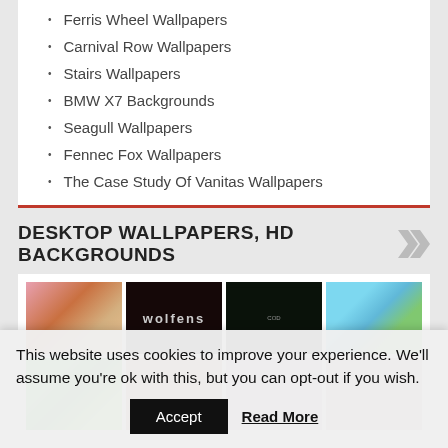Ferris Wheel Wallpapers
Carnival Row Wallpapers
Stairs Wallpapers
BMW X7 Backgrounds
Seagull Wallpapers
Fennec Fox Wallpapers
The Case Study Of Vanitas Wallpapers
DESKTOP WALLPAPERS, HD BACKGROUNDS
[Figure (photo): Grid of 8 desktop wallpaper thumbnail images in 2 rows of 4: anime girl, Wolfenstein game, Call of Duty game, colorful island scene, green splatter art, male portrait, female portrait with dark hair, female portrait]
This website uses cookies to improve your experience. We'll assume you're ok with this, but you can opt-out if you wish.